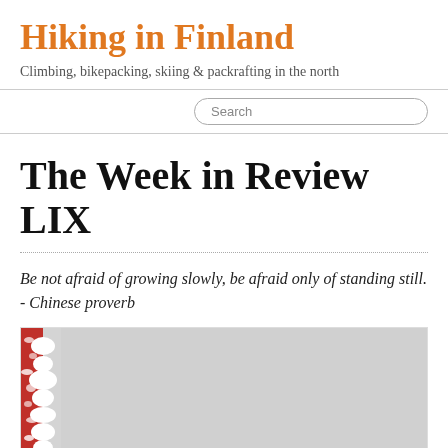Hiking in Finland
Climbing, bikepacking, skiing & packrafting in the north
The Week in Review LIX
Be not afraid of growing slowly, be afraid only of standing still. - Chinese proverb
[Figure (photo): A snow-covered red post or structure against a grey/white snowy background. Only the top portion of the image is visible, showing red material with white snow clinging to it.]